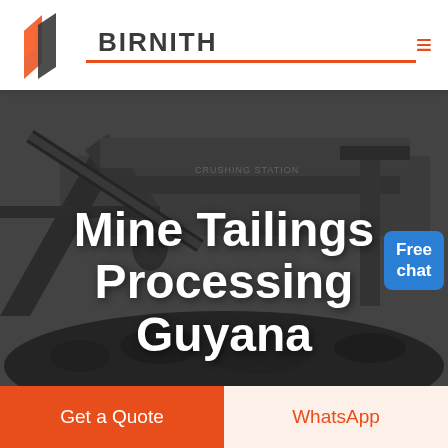[Figure (logo): Birnith company logo: orange/red building icon with two overlapping rhombus shapes, beside bold text BIRNITH with red underline, and hamburger menu icon on right]
[Figure (photo): Dark industrial photo of a crushing station machine with conveyor belts and heavy machinery, black coal/rock material visible, dark overlay with large white bold text 'Mine Tailings Processing Guyana' overlaid. A customer service representative avatar with blue 'Free chat' button visible in top right corner.]
Mine Tailings Processing Guyana
Get a Quote
WhatsApp